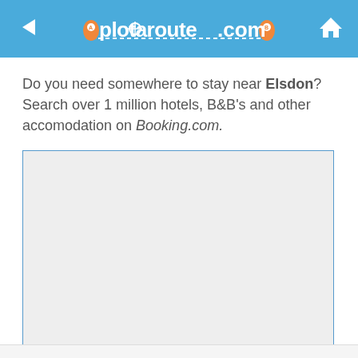plotaroute.com
Do you need somewhere to stay near Elsdon? Search over 1 million hotels, B&B's and other accomodation on Booking.com.
[Figure (other): Empty light grey advertisement box with blue border, placeholder for a Booking.com advertisement widget]